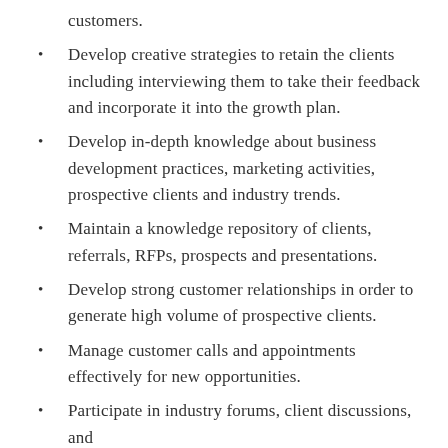customers.
Develop creative strategies to retain the clients including interviewing them to take their feedback and incorporate it into the growth plan.
Develop in-depth knowledge about business development practices, marketing activities, prospective clients and industry trends.
Maintain a knowledge repository of clients, referrals, RFPs, prospects and presentations.
Develop strong customer relationships in order to generate high volume of prospective clients.
Manage customer calls and appointments effectively for new opportunities.
Participate in industry forums, client discussions, and